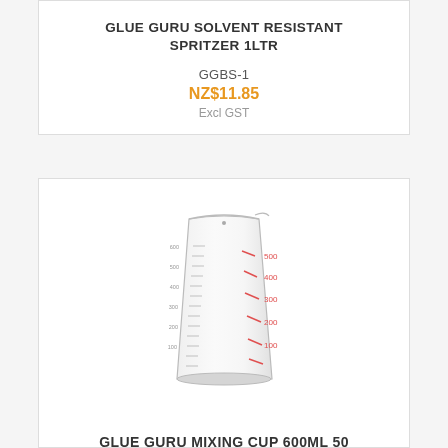GLUE GURU SOLVENT RESISTANT SPRITZER 1LTR
GGBS-1
NZ$11.85
Excl GST
[Figure (photo): A clear plastic measuring cup with red measurement markings, approximately 600ml capacity]
GLUE GURU MIXING CUP 600ML 50 PACK
GGPMC600